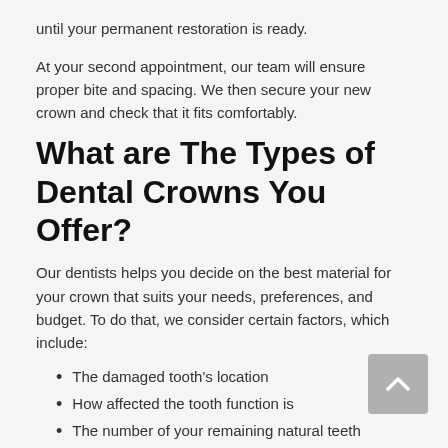until your permanent restoration is ready.
At your second appointment, our team will ensure proper bite and spacing. We then secure your new crown and check that it fits comfortably.
What are The Types of Dental Crowns You Offer?
Our dentists helps you decide on the best material for your crown that suits your needs, preferences, and budget. To do that, we consider certain factors, which include:
The damaged tooth's location
How affected the tooth function is
The number of your remaining natural teeth
The color of the surrounding teeth
The types of crowns you might consider include: